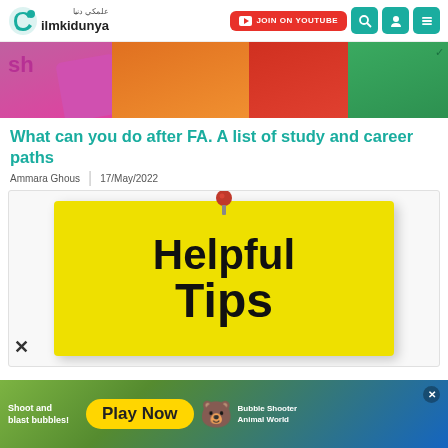ilmkidunya — JOIN ON YOUTUBE navigation bar
[Figure (photo): Colorful keyboard keys in pink, orange, red, green colors as hero banner image]
What can you do after FA. A list of study and career paths
Ammara Ghous  |  17/May/2022
[Figure (photo): Yellow sticky note with red pushpin showing text 'Helpful Tips' in bold black letters on white background]
[Figure (photo): Advertisement banner: Shoot and blast bubbles! Play Now - Bubble Shooter Animal World game ad]